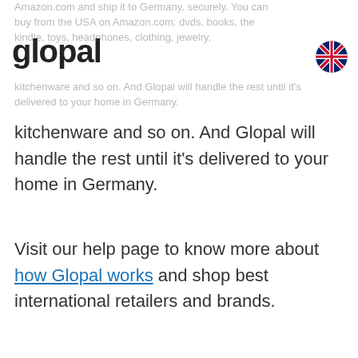Amazon.com and ship it to Germany, securely. You can buy from the USA on Amazon.com: dvds, books, the kindle, toys, headphones, clothing, jewelry,
[Figure (logo): Glopal logo — bold black text reading 'glopal']
[Figure (illustration): UK flag (Union Jack) circle icon]
kitchenware and so on. And Glopal will handle the rest until it's delivered to your home in Germany.
Visit our help page to know more about how Glopal works and shop best international retailers and brands.
Learn more →